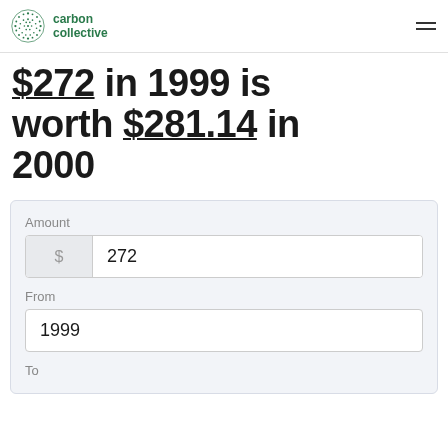carbon collective
$272 in 1999 is worth $281.14 in 2000
Amount
$ 272
From
1999
To